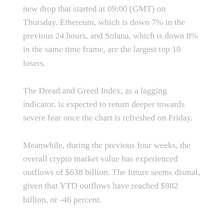new drop that started at 09:00 (GMT) on Thursday. Ethereum, which is down 7% in the previous 24 hours, and Solana, which is down 8% in the same time frame, are the largest top 10 losers.
The Dread and Greed Index, as a lagging indicator, is expected to return deeper towards severe fear once the chart is refreshed on Friday.
Meanwhile, during the previous four weeks, the overall crypto market value has experienced outflows of $638 billion. The future seems dismal, given that YTD outflows have reached $982 billion, or -46 percent.